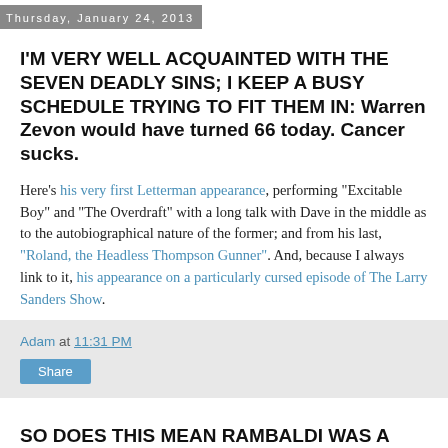Thursday, January 24, 2013
I'M VERY WELL ACQUAINTED WITH THE SEVEN DEADLY SINS; I KEEP A BUSY SCHEDULE TRYING TO FIT THEM IN: Warren Zevon would have turned 66 today. Cancer sucks.
Here's his very first Letterman appearance, performing "Excitable Boy" and "The Overdraft" with a long talk with Dave in the middle as to the autobiographical nature of the former; and from his last, "Roland, the Headless Thompson Gunner". And, because I always link to it, his appearance on a particularly cursed episode of The Larry Sanders Show.
Adam at 11:31 PM
Share
SO DOES THIS MEAN RAMBALDI WAS A JEDI?  Multiple reports now claim that Star Wars: Episode 7 will be directed